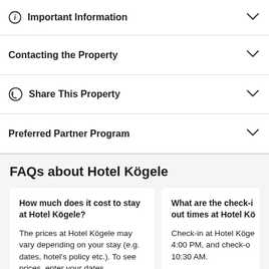ⓘ Important Information
Contacting the Property
Share This Property
Preferred Partner Program
FAQs about Hotel Kögele
How much does it cost to stay at Hotel Kögele?
The prices at Hotel Kögele may vary depending on your stay (e.g. dates, hotel's policy etc.). To see prices, enter your dates.
What are the check-in and check-out times at Hotel Kögele?
Check-in at Hotel Kögele is from 4:00 PM, and check-out is until 10:30 AM.